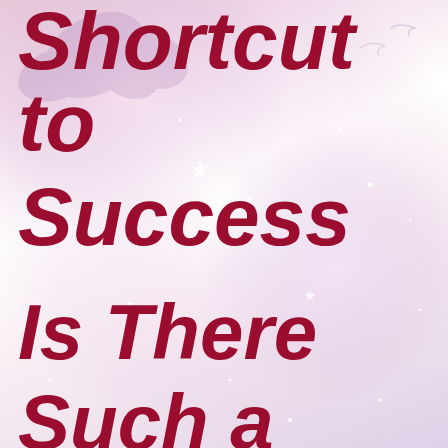[Figure (illustration): Decorative background with soft pink-purple gradient, sparkle/glitter effects, and a faint butterfly silhouette in the upper left area]
Shortcut to Success Is There Such a